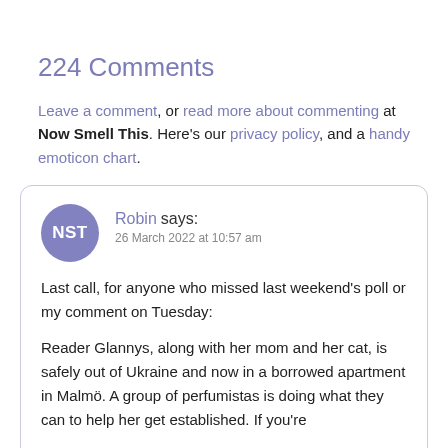224 Comments
Leave a comment, or read more about commenting at Now Smell This. Here's our privacy policy, and a handy emoticon chart.
Robin says:
26 March 2022 at 10:57 am

Last call, for anyone who missed last weekend's poll or my comment on Tuesday:

Reader Glannys, along with her mom and her cat, is safely out of Ukraine and now in a borrowed apartment in Malmö. A group of perfumistas is doing what they can to help her get established. If you're